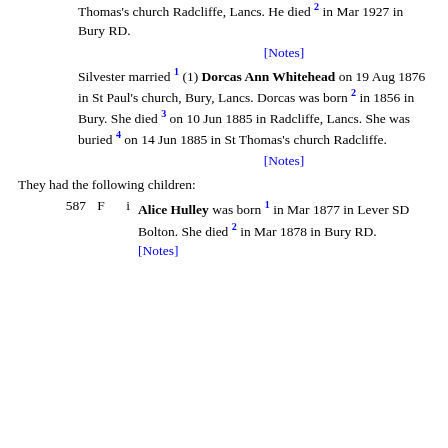Thomas's church Radcliffe, Lancs. He died 2 in Mar 1927 in Bury RD.
[Notes]
Silvester married 1 (1) Dorcas Ann Whitehead on 19 Aug 1876 in St Paul's church, Bury, Lancs. Dorcas was born 2 in 1856 in Bury. She died 3 on 10 Jun 1885 in Radcliffe, Lancs. She was buried 4 on 14 Jun 1885 in St Thomas's church Radcliffe.
[Notes]
They had the following children:
587 F i Alice Hulley was born 1 in Mar 1877 in Lever SD Bolton. She died 2 in Mar 1878 in Bury RD. [Notes]